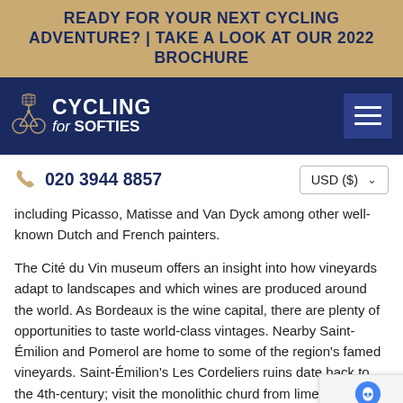READY FOR YOUR NEXT CYCLING ADVENTURE? | TAKE A LOOK AT OUR 2022 BROCHURE
[Figure (logo): Cycling for Softies logo with bicycle illustration on dark navy background, and hamburger menu icon]
020 3944 8857   USD ($)
including Picasso, Matisse and Van Dyck among other well-known Dutch and French painters.
The Cité du Vin museum offers an insight into how vineyards adapt to landscapes and which wines are produced around the world. As Bordeaux is the wine capital, there are plenty of opportunities to taste world-class vintages. Nearby Saint-Émilion and Pomerol are home to some of the region's famed vineyards. Saint-Émilion's Les Cordeliers ruins date back to the 4th-century; visit the monolithic church carved from limestone and the underground cellars where sparkling wines are produced.